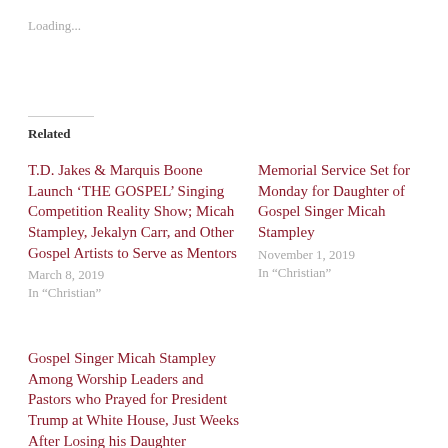Loading...
Related
T.D. Jakes & Marquis Boone Launch ‘THE GOSPEL’ Singing Competition Reality Show; Micah Stampley, Jekalyn Carr, and Other Gospel Artists to Serve as Mentors
March 8, 2019
In “Christian”
Memorial Service Set for Monday for Daughter of Gospel Singer Micah Stampley
November 1, 2019
In “Christian”
Gospel Singer Micah Stampley Among Worship Leaders and Pastors who Prayed for President Trump at White House, Just Weeks After Losing his Daughter
December 17, 2019